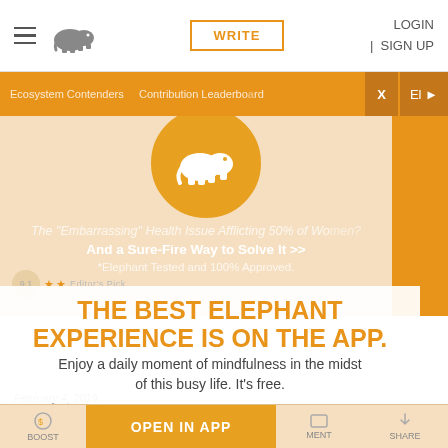[Figure (screenshot): Elephant Journal website screenshot showing navigation bar with hamburger menu, elephant logo, WRITE button, LOGIN and SIGN UP links]
LOGIN | SIGN UP
[Figure (infographic): Orange banner strip with Ecosystem Contenders and Contribution Leaderboard text, X close button, El arrow button]
[Figure (illustration): Peach/cream advertisement area with orange elephant logo in golden circle, italic ad headline about embarrassing health issue afflicting 50% of women, and sure way to solve it, Elephant Tested and 100% Approved]
THE BEST ELEPHANT EXPERIENCE IS ON THE APP.
Enjoy a daily moment of mindfulness in the midst of this busy life. It's free.
February 4, 2019
A Love Letter to My Boys, from your Bonus Mother
[Figure (screenshot): GET THE APP orange button overlay and OPEN IN APP bottom bar button with BOOST and SHARE icons]